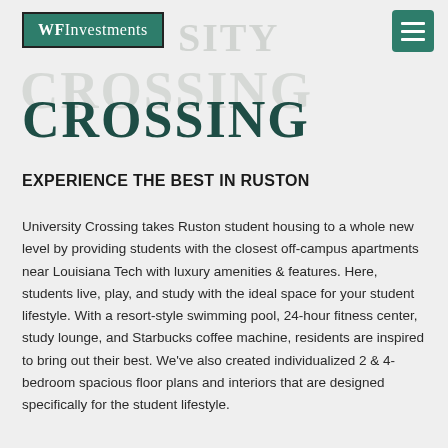WFInvestments
UNIVERSITY CROSSING
EXPERIENCE THE BEST IN RUSTON
University Crossing takes Ruston student housing to a whole new level by providing students with the closest off-campus apartments near Louisiana Tech with luxury amenities & features. Here, students live, play, and study with the ideal space for your student lifestyle. With a resort-style swimming pool, 24-hour fitness center, study lounge, and Starbucks coffee machine, residents are inspired to bring out their best. We've also created individualized 2 & 4-bedroom spacious floor plans and interiors that are designed specifically for the student lifestyle.